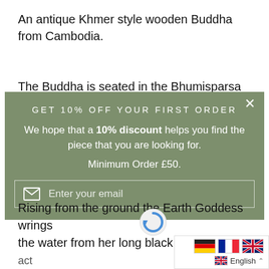An antique Khmer style wooden Buddha from Cambodia.
The Buddha is seated in the Bhumisparsa or...
[Figure (screenshot): Modal popup overlay with green-grey background. Title: 'GET 10% OFF YOUR FIRST ORDER'. Body text: 'We hope that a 10% discount helps you find the piece that you are looking for.' Minimum Order £50. Email input field with envelope icon and placeholder 'Enter your email'. Close button X in top right.]
Rising from the ground the Earth Goddess wrings the water from her long black hair. By this act she raises a torrential flood that dr...
[Figure (screenshot): Language selector bar showing German, French and UK flags, with English selected and expand arrow. reCAPTCHA icon visible.]